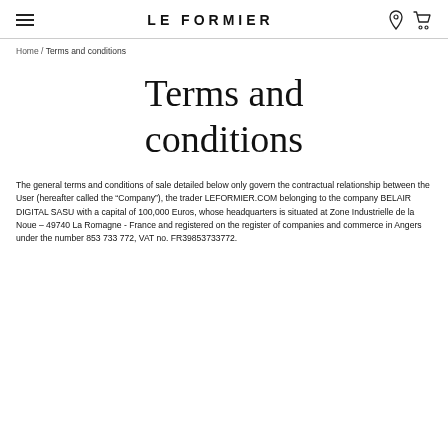LE FORMIER
Home / Terms and conditions
Terms and conditions
The general terms and conditions of sale detailed below only govern the contractual relationship between the User (hereafter called the “Company”), the trader LEFORMIER.COM belonging to the company BELAIR DIGITAL SASU with a capital of 100,000 Euros, whose headquarters is situated at Zone Industrielle de la Noue – 49740 La Romagne - France and registered on the register of companies and commerce in Angers under the number 853 733 772, VAT no. FR39853733772.